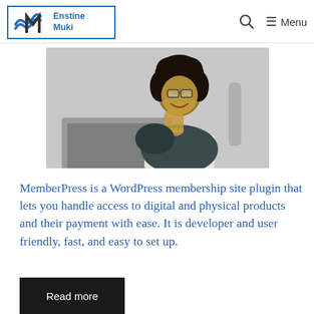Enstine Muki — Navigation header with search and menu
[Figure (photo): A smiling young woman with curly hair and glasses, sitting at a desk with a laptop and open book, resting her chin on her hand.]
MemberPress is a WordPress membership site plugin that lets you handle access to digital and physical products and their payment with ease. It is developer and user friendly, fast, and easy to set up.
Read more